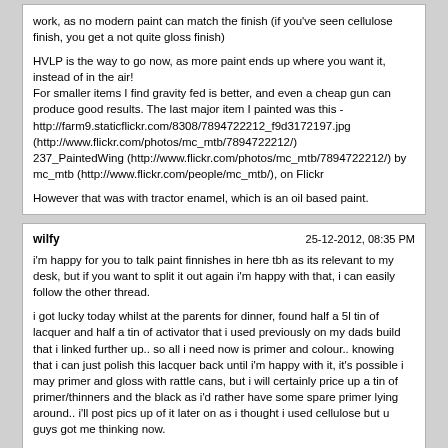work, as no modern paint can match the finish (if you've seen cellulose finish, you get a not quite gloss finish)

HVLP is the way to go now, as more paint ends up where you want it, instead of in the air!
For smaller items I find gravity fed is better, and even a cheap gun can produce good results. The last major item I painted was this - http://farm9.staticflickr.com/8308/7894722212_f9d3172197.jpg (http://www.flickr.com/photos/mc_mtb/7894722212/) 237_PaintedWing (http://www.flickr.com/photos/mc_mtb/7894722212/) by mc_mtb (http://www.flickr.com/people/mc_mtb/), on Flickr

However that was with tractor enamel, which is an oil based paint.
wilfy	25-12-2012, 08:35 PM
i'm happy for you to talk paint finnishes in here tbh as its relevant to my desk, but if you want to split it out again i'm happy with that, i can easily follow the other thread.

i got lucky today whilst at the parents for dinner, found half a 5l tin of lacquer and half a tin of activator that i used previously on my dads build that i linked further up.. so all i need now is primer and colour.. knowing that i can just polish this lacquer back until i'm happy with it, it's possible i may primer and gloss with rattle cans, but i will certainly price up a tin of primer/thinners and the black as i'd rather have some spare primer lying around.. i'll post pics up of it later on as i thought i used cellulose but u guys got me thinking now.

as for mask i used the 3M one as linked above to do the build and thats about the only protection i used, i wasnt aware my paint needed any special kind of ventilation
Powered by vBulletin® Version 4.2.5 Copyright © 2022 vBulletin Solutions Inc. All rights reserved.